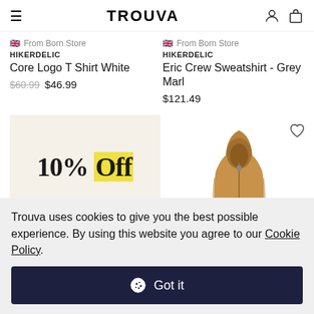TROUVA
From Born Store - HIKERDELIC - Core Logo T Shirt White - $60.99 $46.99
From Born Store - HIKERDELIC - Eric Crew Sweatshirt - Grey Marl - $121.49
[Figure (other): 10% Off promotional banner on beige background]
[Figure (photo): Brown hooded jacket/sweatshirt product image with heart/wishlist icon]
Trouva uses cookies to give you the best possible experience. By using this website you agree to our Cookie Policy.
Got it